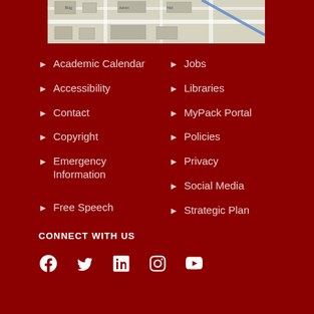[Figure (map): Campus map aerial/street view showing buildings and roads]
Academic Calendar
Accessibility
Contact
Copyright
Emergency Information
Free Speech
Jobs
Libraries
MyPack Portal
Policies
Privacy
Social Media
Strategic Plan
CONNECT WITH US
[Figure (illustration): Social media icons: Facebook, Twitter, LinkedIn, Instagram, YouTube]